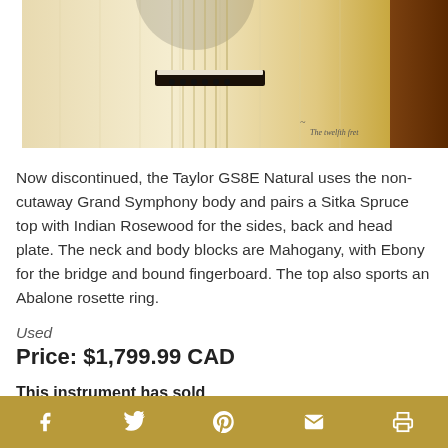[Figure (photo): Close-up photo of a Taylor GS8E Natural acoustic guitar body, showing the spruce top, bridge, and headstock area. The Twelfth Fret logo/watermark is visible in the lower right corner.]
Now discontinued, the Taylor GS8E Natural uses the non-cutaway Grand Symphony body and pairs a Sitka Spruce top with Indian Rosewood for the sides, back and head plate. The neck and body blocks are Mahogany, with Ebony for the bridge and bound fingerboard. The top also sports an Abalone rosette ring.
Used
Price: $1,799.99 CAD
This instrument has sold
MORE →